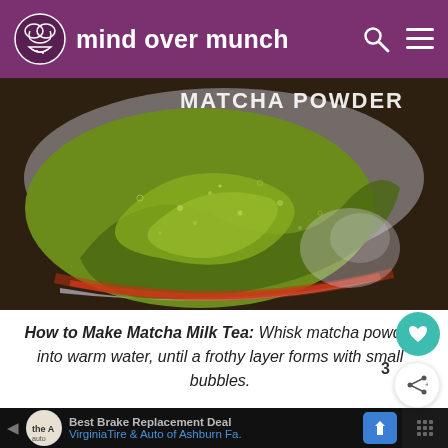mind over munch
[Figure (photo): Close-up photo of matcha powder being whisked into warm water in a bowl, with frothy green mixture and small bubbles visible. Overlay text reads MATCHA POWDER.]
How to Make Matcha Milk Tea: Whisk matcha powder into warm water, until a frothy layer forms with small bubbles.
[Figure (screenshot): Advertisement banner for Virginia Tire & Auto of Ashburn Fa., showing Best Brake Replacement Deal.]